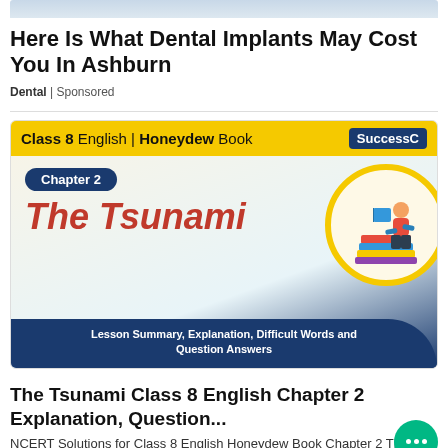[Figure (photo): Partial top image showing a person, cropped at top]
Here Is What Dental Implants May Cost You In Ashburn
Dental | Sponsored
[Figure (illustration): Educational thumbnail for Class 8 English Honeydew Book, Chapter 2 The Tsunami. Yellow top bar with title, dark blue badge saying Chapter 2, red italic text saying The Tsunami, illustration of person reading on books in circle, dark blue footer with text: Lesson Summary, Explanation, Difficult Words and Question Answers. SuccessC badge top right.]
The Tsunami Class 8 English Chapter 2 Explanation, Question...
NCERT Solutions for Class 8 English Honeydew Book Chapter 2 The Tsunami Explanation. ...